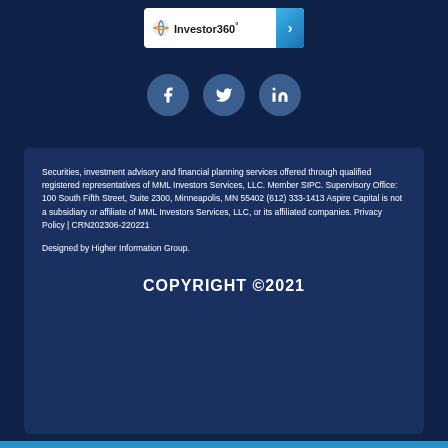[Figure (logo): Investor360 logo banner with colorful globe icon, text 'Investor360°', and a blue arrow box on the right]
[Figure (illustration): Three social media icon circles: Facebook (f), Twitter (bird), LinkedIn (in), displayed in teal/blue circles]
Securities, investment advisory and financial planning services offered through qualified registered representatives of MML Investors Services, LLC. Member SIPC. Supervisory Office: 100 South Fifth Street, Suite 2300, Minneapolis, MN 55402 (612) 333-1413 Aspire Capital is not a subsidiary or affiliate of MML Investors Services, LLC, or its affiliated companies.  Privacy Policy  |  CRN202306-220221
Designed by Higher Information Group.
COPYRIGHT ©2021